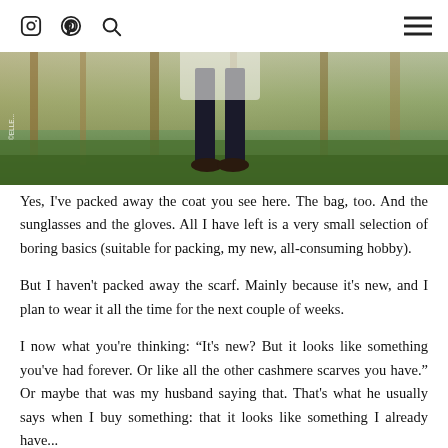[icons: Instagram, Pinterest, Search] [hamburger menu]
[Figure (photo): Outdoor photo showing lower half of a person wearing dark trousers and shoes, standing on grass with autumn foliage background. Copyright watermark visible on left side.]
Yes, I've packed away the coat you see here. The bag, too. And the sunglasses and the gloves. All I have left is a very small selection of boring basics (suitable for packing, my new, all-consuming hobby).
But I haven't packed away the scarf. Mainly because it's new, and I plan to wear it all the time for the next couple of weeks.
I now what you're thinking: “It's new? But it looks like something you've had forever. Or like all the other cashmere scarves you have.” Or maybe that was my husband saying that. That's what he usually says when I buy something: that it looks like something I already have...
Trust me, there's nothing as effective as moving to